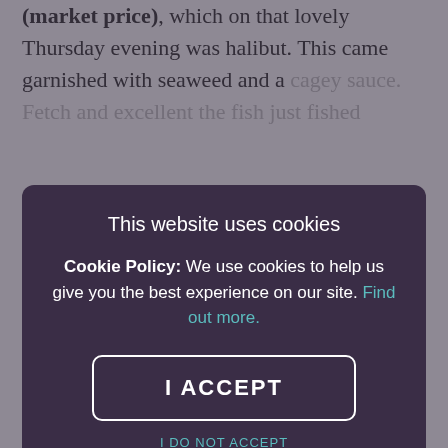(market price), which on that lovely Thursday evening was halibut. This came garnished with seaweed and a cagey sauce. Fetch and excellent the fish just fished
[Figure (screenshot): Cookie consent modal overlay on a webpage. Dark purple background modal with title 'This website uses cookies', body text explaining cookie policy with a teal 'Find out more.' link, an 'I ACCEPT' button with white border, and an 'I DO NOT ACCEPT' teal text link below.]
salted caramel and was a total stunner. Yes, I did have a scoop of both at the same time, and yes they were a match made in heaven.